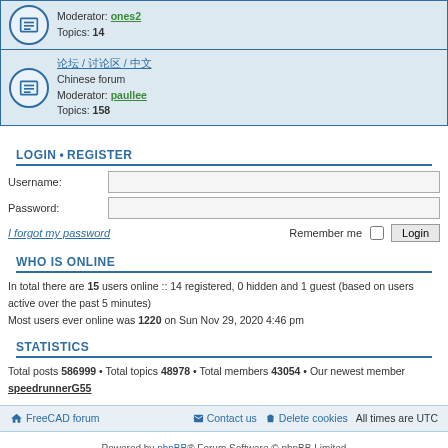Moderator: ones2
Topics: 14
论坛 / 讨论区 / 中文
Chinese forum
Moderator: paullee
Topics: 158
LOGIN • REGISTER
Username:
Password:
I forgot my password
Remember me  Login
WHO IS ONLINE
In total there are 15 users online :: 14 registered, 0 hidden and 1 guest (based on users active over the past 5 minutes)
Most users ever online was 1220 on Sun Nov 29, 2020 4:46 pm
STATISTICS
Total posts 586999 • Total topics 48978 • Total members 43054 • Our newest member speedrunnerG55
FreeCAD forum   Contact us   Delete cookies   All times are UTC
Powered by phpBB® Forum Software © phpBB Limited
Privacy | Terms